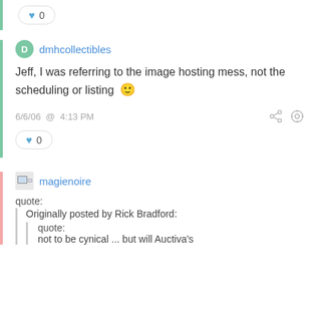0
dmhcollectibles
Jeff, I was referring to the image hosting mess, not the scheduling or listing 🙂
6/6/06 @ 4:13 PM
0
magienoire
quote:
Originally posted by Rick Bradford:
quote:
not to be cynical ... but will Auctiva's